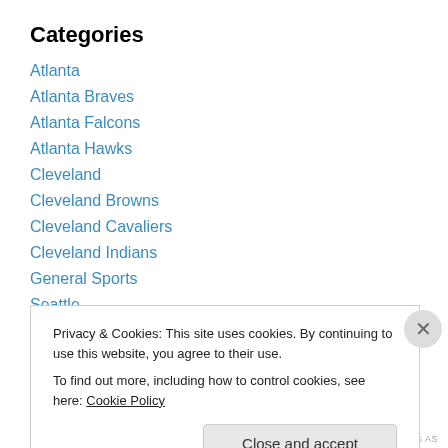Categories
Atlanta
Atlanta Braves
Atlanta Falcons
Atlanta Hawks
Cleveland
Cleveland Browns
Cleveland Cavaliers
Cleveland Indians
General Sports
Seattle
Seattle Mariners
Privacy & Cookies: This site uses cookies. By continuing to use this website, you agree to their use.
To find out more, including how to control cookies, see here: Cookie Policy
Close and accept
HDBDFCTUG AS